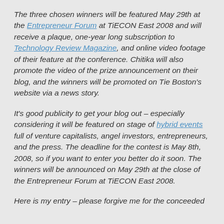The three chosen winners will be featured May 29th at the Entrepreneur Forum at TiECON East 2008 and will receive a plaque, one-year long subscription to Technology Review Magazine, and online video footage of their feature at the conference. Chitika will also promote the video of the prize announcement on their blog, and the winners will be promoted on Tie Boston's website via a news story.
It's good publicity to get your blog out – especially considering it will be featured on stage of hybrid events full of venture capitalists, angel investors, entrepreneurs, and the press. The deadline for the contest is May 8th, 2008, so if you want to enter you better do it soon. The winners will be announced on May 29th at the close of the Entrepreneur Forum at TiECON East 2008.
Here is my entry – please forgive me for the conceeded...